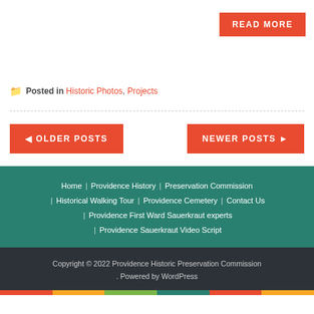READ MORE
Posted in Historic Photos, Projects
◄ OLDER POSTS
NEWER POSTS ►
Home | Providence History | Preservation Commission | Historical Walking Tour | Providence Cemetery | Contact Us | Providence First Ward Sauerkraut experts | Providence Sauerkraut Video Script
Copyright © 2022 Providence Historic Preservation Commission . Powered by WordPress